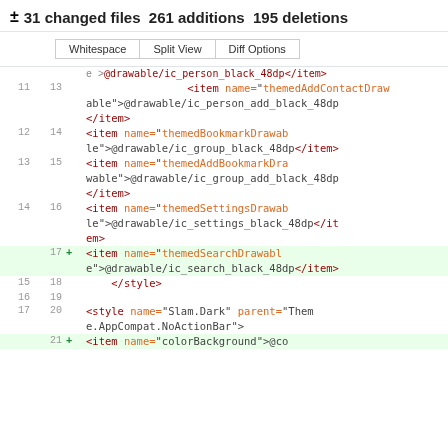± 31 changed files 261 additions 195 deletions
Whitespace | Split View | Diff Options
| old_ln | new_ln | + | code |
| --- | --- | --- | --- |
|  |  |  | e >@drawable/ic_person_black_48dp</item> |
| 11 | 13 |  | <item name="themedAddContactDrawable">@drawable/ic_person_add_black_48dp</item> |
| 12 | 14 |  | <item name="themedBookmarkDrawable">@drawable/ic_group_black_48dp</item> |
| 13 | 15 |  | <item name="themedAddBookmarkDrawable">@drawable/ic_group_add_black_48dp</item> |
| 14 | 16 |  | <item name="themedSettingsDrawable">@drawable/ic_settings_black_48dp</item> |
|  | 17 | + | <item name="themedSearchDrawable">@drawable/ic_search_black_48dp</item> |
| 15 | 18 |  | </style> |
| 16 | 19 |  |  |
| 17 | 20 |  | <style name="Slam.Dark" parent="Theme.AppCompat.NoActionBar"> |
|  | 21 | + | <item name="colorBackground">@co |